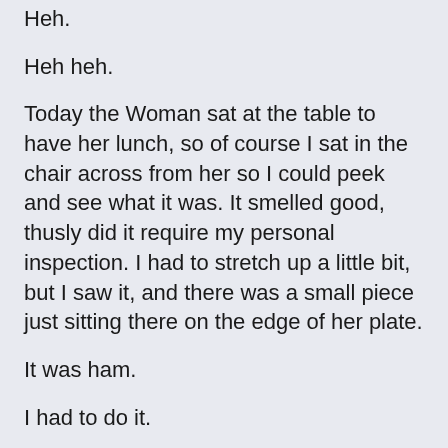Heh.
Heh heh.
Today the Woman sat at the table to have her lunch, so of course I sat in the chair across from her so I could peek and see what it was. It smelled good, thusly did it require my personal inspection. I had to stretch up a little bit, but I saw it, and there was a small piece just sitting there on the edge of her plate.
It was ham.
I had to do it.
Lest she suspect anything, I jumped down from the chair and crept around to the counter behind her, jumped up there, and made the calculations necessary for success. It had to be quick, but it also had to be clean, so that she didn't have chance to stop me.
So I jumped. I sailed over her shoulder, landed on the table,